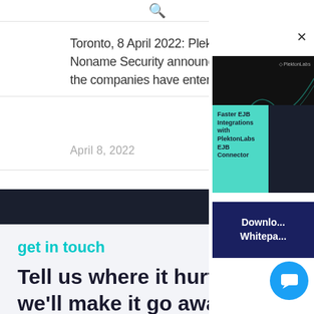🔍
Toronto, 8 April 2022: PlektonLabs and Noname Security announced today that the companies have entered
April 8, 2022
get in touch
Tell us where it hurts and we'll make it go away!
Let's Talk
[Figure (other): Whitepaper card: Faster EJB Integrations with PlektonLabs EJB Connector, black and teal design]
Download Whitepaper